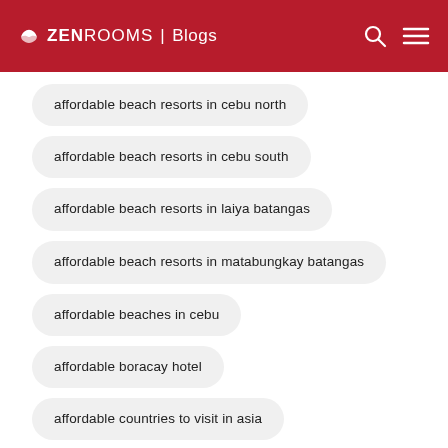ZEN ROOMS | Blogs
affordable beach resorts in cebu north
affordable beach resorts in cebu south
affordable beach resorts in laiya batangas
affordable beach resorts in matabungkay batangas
affordable beaches in cebu
affordable boracay hotel
affordable countries to visit in asia
affordable food trip in manila